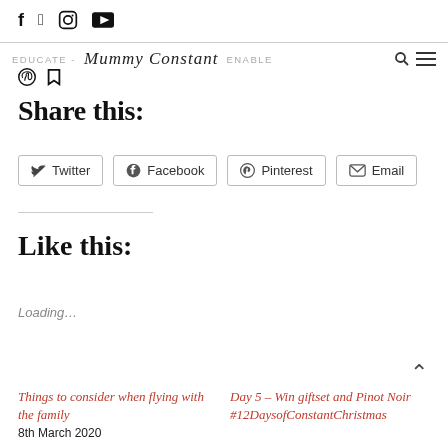EDUCATE - Mummy Constant ENABLE
Share this:
Twitter  Facebook  Pinterest  Email
Like this:
Loading…
Things to consider when flying with the family
8th March 2020
Day 5 – Win giftset and Pinot Noir
#12DaysofConstantChristmas